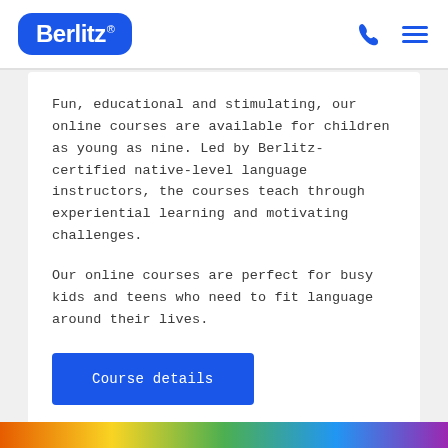[Figure (logo): Berlitz logo — white text on blue rounded rectangle background with registered trademark symbol]
Fun, educational and stimulating, our online courses are available for children as young as nine. Led by Berlitz-certified native-level language instructors, the courses teach through experiential learning and motivating challenges.
Our online courses are perfect for busy kids and teens who need to fit language around their lives.
Course details